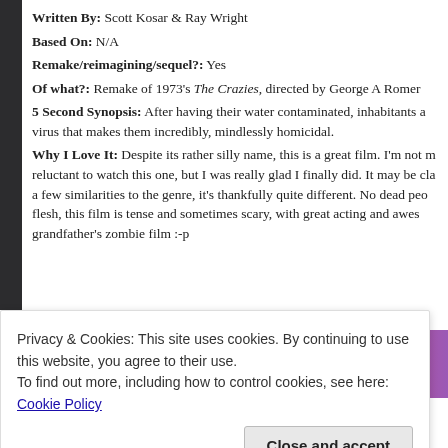Written By: Scott Kosar & Ray Wright
Based On: N/A
Remake/reimagining/sequel?: Yes
Of what?: Remake of 1973's The Crazies, directed by George A Romero
5 Second Synopsis: After having their water contaminated, inhabitants a virus that makes them incredibly, mindlessly homicidal.
Why I Love It: Despite its rather silly name, this is a great film. I'm not m reluctant to watch this one, but I was really glad I finally did. It may be cla a few similarities to the genre, it's thankfully quite different. No dead peo flesh, this film is tense and sometimes scary, with great acting and awes grandfather's zombie film :-p
[Figure (other): Fandom on Tumblr advertisement banner with orange-pink-purple gradient]
Privacy & Cookies: This site uses cookies. By continuing to use this website, you agree to their use.
To find out more, including how to control cookies, see here: Cookie Policy
Close and accept